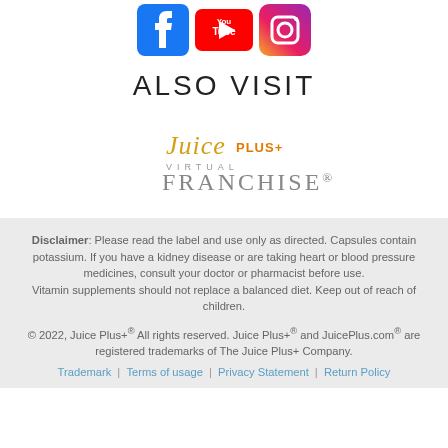[Figure (logo): Social media icons: Facebook, YouTube, Instagram]
ALSO VISIT
[Figure (logo): Juice Plus+ Virtual Franchise logo]
Disclaimer: Please read the label and use only as directed. Capsules contain potassium. If you have a kidney disease or are taking heart or blood pressure medicines, consult your doctor or pharmacist before use. Vitamin supplements should not replace a balanced diet. Keep out of reach of children.
© 2022, Juice Plus+® All rights reserved. Juice Plus+® and JuicePlus.com® are registered trademarks of The Juice Plus+ Company.
Trademark  |  Terms of usage  |  Privacy Statement  |  Return Policy